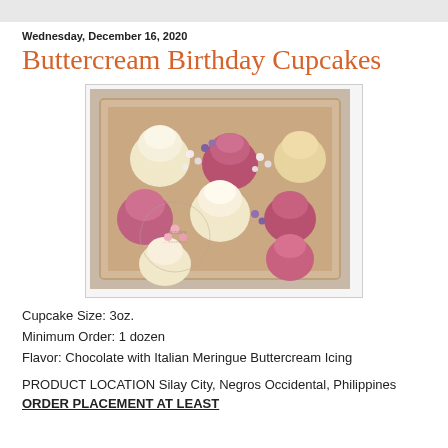Wednesday, December 16, 2020
Buttercream Birthday Cupcakes
[Figure (photo): A box of decorated birthday cupcakes with buttercream icing in cream, pink, and purple colors, displayed in a cardboard box. Shezzles watermark visible.]
Cupcake Size: 3oz.
Minimum Order: 1 dozen
Flavor: Chocolate with Italian Meringue Buttercream Icing
PRODUCT LOCATION Silay City, Negros Occidental, Philippines
ORDER PLACEMENT AT LEAST